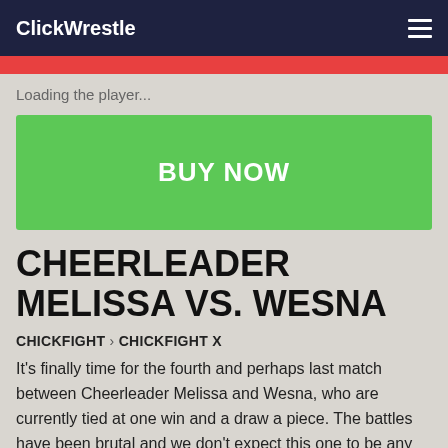ClickWrestle
Loading the player...
BUY NOW
CHEERLEADER MELISSA VS. WESNA
CHICKFIGHT › CHICKFIGHT X
It's finally time for the fourth and perhaps last match between Cheerleader Melissa and Wesna, who are currently tied at one win and a draw a piece. The battles have been brutal and we don't expect this one to be any different, as both desperately want to lay claim to being the most dominant female in all of ChickFight.